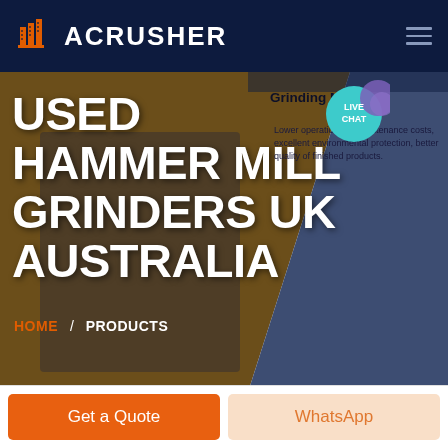ACRUSHER
USED HAMMER MILL GRINDERS UK AUSTRALIA
Grinding Mill
Lower operational & maintenance costs, excellent environmental protection, better quality of finished products.
HOME / PRODUCTS
Get a Quote
WhatsApp